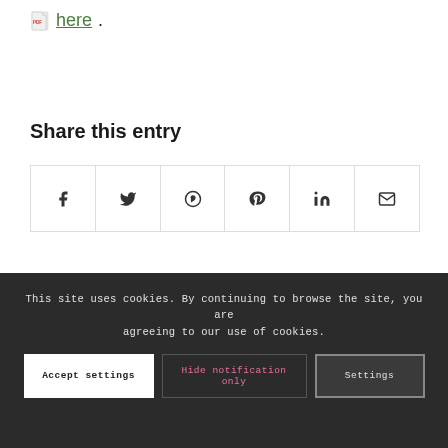here.
Share this entry
[Figure (other): Social sharing buttons row: Facebook, Twitter, WhatsApp, Pinterest, LinkedIn, Email icons in bordered cells]
This site uses cookies. By continuing to browse the site, you are agreeing to our use of cookies.
Accept settings | Hide notification only | Settings